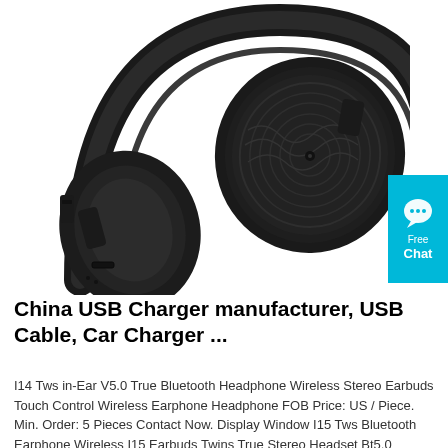[Figure (photo): Close-up photo of a black over-ear Bluetooth headphone showing the ear cup with textured circular detail and the headband, on a white background.]
[Figure (infographic): Cyan/blue 'Free Chat' badge with speech bubble icon on the right side of the page.]
China USB Charger manufacturer, USB Cable, Car Charger ...
I14 Tws in-Ear V5.0 True Bluetooth Headphone Wireless Stereo Earbuds Touch Control Wireless Earphone Headphone FOB Price: US / Piece. Min. Order: 5 Pieces Contact Now. Display Window I15 Tws Bluetooth Earphone Wireless I15 Earbuds Twins True Stereo Headset Bt5.0